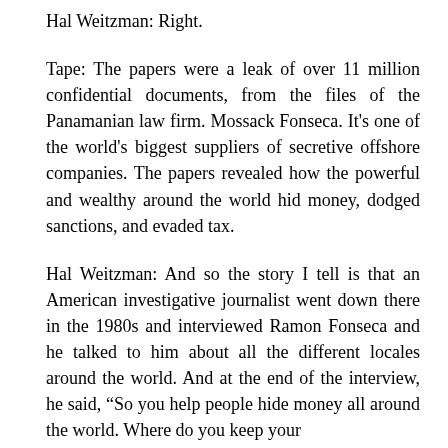Hal Weitzman: Right.
Tape: The papers were a leak of over 11 million confidential documents, from the files of the Panamanian law firm. Mossack Fonseca. It's one of the world's biggest suppliers of secretive offshore companies. The papers revealed how the powerful and wealthy around the world hid money, dodged sanctions, and evaded tax.
Hal Weitzman: And so the story I tell is that an American investigative journalist went down there in the 1980s and interviewed Ramon Fonseca and he talked to him about all the different locales around the world. And at the end of the interview, he said, “So you help people hide money all around the world. Where do you keep your